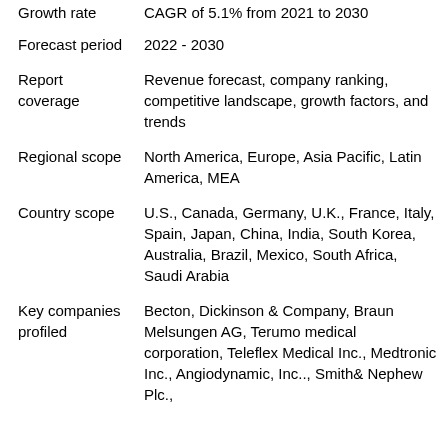| Growth rate | CAGR of 5.1% from 2021 to 2030 |
| Forecast period | 2022 - 2030 |
| Report coverage | Revenue forecast, company ranking, competitive landscape, growth factors, and trends |
| Regional scope | North America, Europe, Asia Pacific, Latin America, MEA |
| Country scope | U.S., Canada, Germany, U.K., France, Italy, Spain, Japan, China, India, South Korea, Australia, Brazil, Mexico, South Africa, Saudi Arabia |
| Key companies profiled | Becton, Dickinson & Company, Braun Melsungen AG, Terumo medical corporation, Teleflex Medical Inc., Medtronic Inc., Angiodynamic, Inc.., Smith& Nephew Plc., |